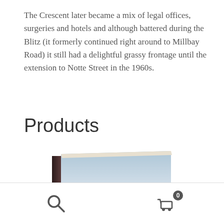The Crescent later became a mix of legal offices, surgeries and hotels and although battered during the Blitz (it formerly continued right around to Millbay Road) it still had a delightful grassy frontage until the extension to Notte Street in the 1960s.
Products
[Figure (photo): A book with a scene of a railway bridge with steam trains, shown at an angle with the book's spine visible on the left side.]